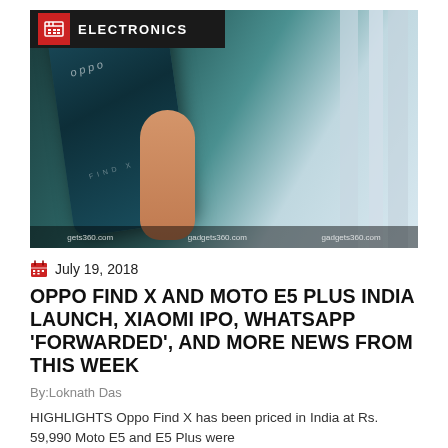[Figure (photo): Hand holding an OPPO Find X smartphone (teal/blue), with vertical blurred bars in the background. The image has 'gadgets360.com' watermarks across the bottom. An ELECTRONICS label with a red icon overlays the top-left corner.]
July 19, 2018
OPPO FIND X AND MOTO E5 PLUS INDIA LAUNCH, XIAOMI IPO, WHATSAPP 'FORWARDED', AND MORE NEWS FROM THIS WEEK
By:Loknath Das
HIGHLIGHTS Oppo Find X has been priced in India at Rs. 59,990 Moto E5 and E5 Plus were